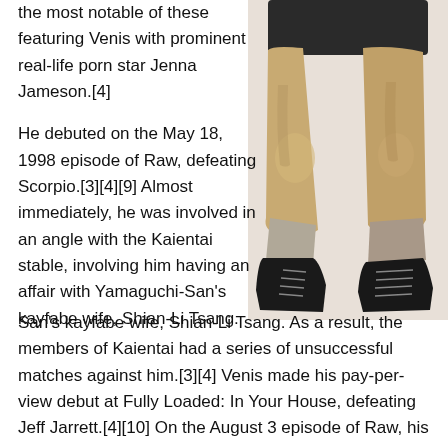the most notable of these featuring Venis with prominent real-life porn star Jenna Jameson.[4]
[Figure (photo): Cropped black and white/sepia photo showing the legs and lower torso of a wrestler in shorts and black boots]
He debuted on the May 18, 1998 episode of Raw, defeating Scorpio.[3][4][9] Almost immediately, he was involved in an angle with the Kaientai stable, involving him having an affair with Yamaguchi-San's kayfabe wife, Shian-Li Tsang. As a result, the members of Kaientai had a series of unsuccessful matches against him.[3][4] Venis made his pay-per-view debut at Fully Loaded: In Your House, defeating Jeff Jarrett.[4][10] On the August 3 episode of Raw, his